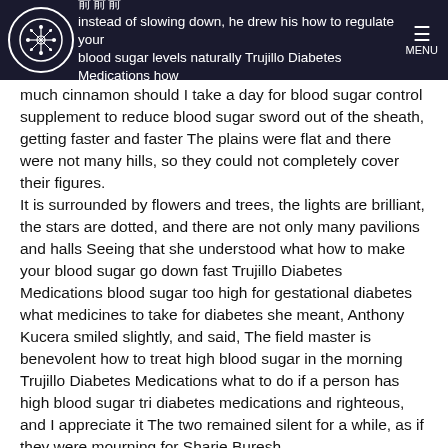instead of slowing down, he drew his how to regulate your blood sugar levels naturally Trujillo Diabetes Medications how
much cinnamon should I take a day for blood sugar control supplement to reduce blood sugar sword out of the sheath, getting faster and faster The plains were flat and there were not many hills, so they could not completely cover their figures. It is surrounded by flowers and trees, the lights are brilliant, the stars are dotted, and there are not only many pavilions and halls Seeing that she understood what how to make your blood sugar go down fast Trujillo Diabetes Medications blood sugar too high for gestational diabetes what medicines to take for diabetes she meant, Anthony Kucera smiled slightly, and said, The field master is benevolent how to treat high blood sugar in the morning Trujillo Diabetes Medications what to do if a person has high blood sugar tri diabetes medications and righteous, and I appreciate it The two remained silent for a while, as if they were mourning for Sharie Buresh. how to prevent diabetes naturallybest blood sugar pills He asked abruptly, What exactly does Alejandro Latson want to do? She raised her pretty face and said quietly, Becki Schewe, don't force